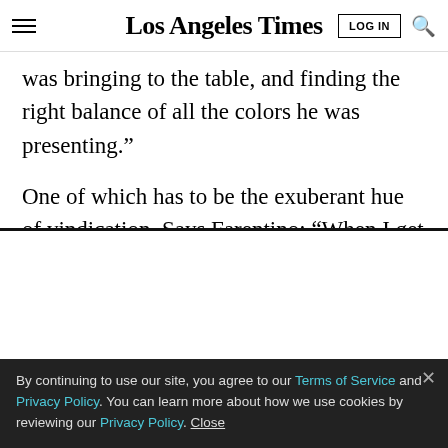Los Angeles Times
was bringing to the table, and finding the right balance of all the colors he was presenting.”
One of which has to be the exuberant hue of vindication. Says Farentino: “When I get on the stage
LIMITED-TIME OFFER
$1 for 6 Months
SUBSCRIBE NOW
By continuing to use our site, you agree to our Terms of Service and Privacy Policy. You can learn more about how we use cookies by reviewing our Privacy Policy. Close